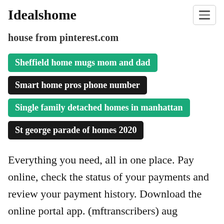Idealshome
house from pinterest.com
Sheffield home mugs mom and dad
Smart home pros phone number
Single family detached homes in manhattan
St george parade of homes 2020
Everything you need, all in one place. Pay online, check the status of your payments and review your payment history. Download the online portal app. (mftranscribers) aug